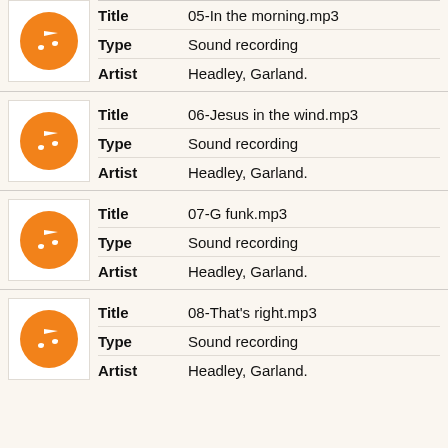| Icon | Field | Value |
| --- | --- | --- |
| [music icon] | Title | 05-In the morning.mp3 |
|  | Type | Sound recording |
|  | Artist | Headley, Garland. |
| [music icon] | Title | 06-Jesus in the wind.mp3 |
|  | Type | Sound recording |
|  | Artist | Headley, Garland. |
| [music icon] | Title | 07-G funk.mp3 |
|  | Type | Sound recording |
|  | Artist | Headley, Garland. |
| [music icon] | Title | 08-That's right.mp3 |
|  | Type | Sound recording |
|  | Artist | Headley, Garland. |